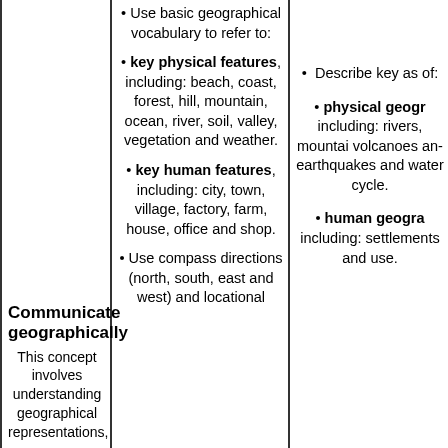Use basic geographical vocabulary to refer to:
key physical features, including: beach, coast, forest, hill, mountain, ocean, river, soil, valley, vegetation and weather.
key human features, including: city, town, village, factory, farm, house, office and shop.
Use compass directions (north, south, east and west) and locational
Communicate geographically
This concept involves understanding geographical representations,
Describe key as of:
physical geogr including: rivers, mountains, volcanoes and earthquakes and water cycle.
human geogra including: settlements and use.